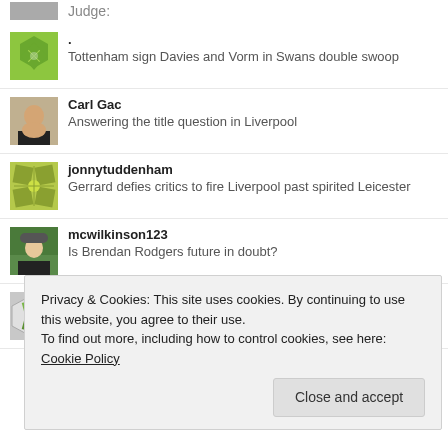Judge:
. | Tottenham sign Davies and Vorm in Swans double swoop
Carl Gac | Answering the title question in Liverpool
jonnytuddenham | Gerrard defies critics to fire Liverpool past spirited Leicester
mcwilkinson123 | Is Brendan Rodgers future in doubt?
moran1989 | Just a Stones throw away from Chelsea?
Privacy & Cookies: This site uses cookies. By continuing to use this website, you agree to their use. To find out more, including how to control cookies, see here: Cookie Policy
Close and accept